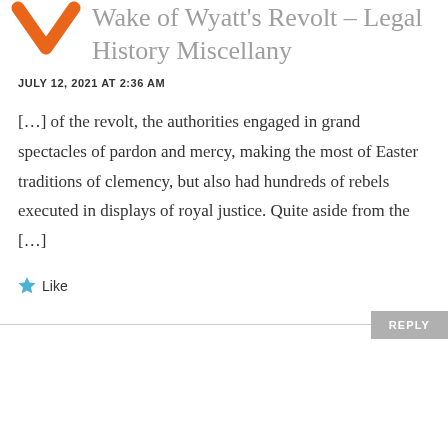[Figure (illustration): Orange downward chevron/arrow icon]
Wake of Wyatt's Revolt – Legal History Miscellany
JULY 12, 2021 AT 2:36 AM
[…] of the revolt, the authorities engaged in grand spectacles of pardon and mercy, making the most of Easter traditions of clemency, but also had hundreds of rebels executed in displays of royal justice. Quite aside from the […]
Like
REPLY